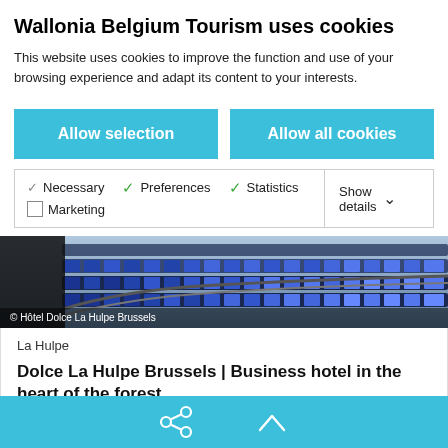Wallonia Belgium Tourism uses cookies
This website uses cookies to improve the function and use of your browsing experience and adapt its content to your interests.
Allow selection
Allow all cookies
Necessary  Preferences  Statistics  Marketing  Show details
[Figure (photo): Blue stadium seats in curved rows, photo credit: Hôtel Dolce La Hulpe Brussels]
La Hulpe
Dolce La Hulpe Brussels | Business hotel in the heart of the forest
Dolce La Hulpe Brussels is a 4-star hotel offering